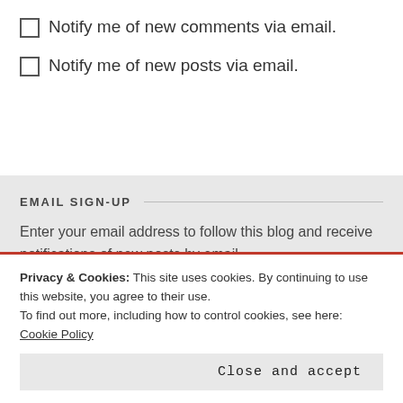Notify me of new comments via email.
Notify me of new posts via email.
EMAIL SIGN-UP
Enter your email address to follow this blog and receive notifications of new posts by email.
Enter your email address
Privacy & Cookies: This site uses cookies. By continuing to use this website, you agree to their use.
To find out more, including how to control cookies, see here: Cookie Policy
Close and accept